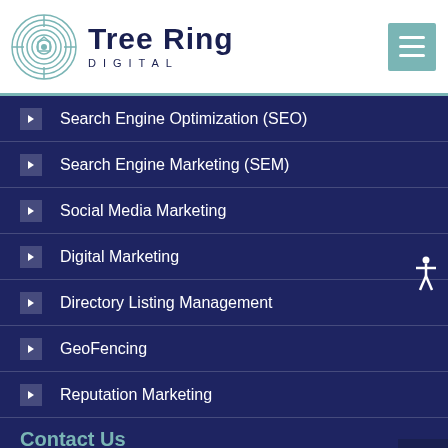[Figure (logo): Tree Ring Digital logo with circular tree ring icon and company name]
Search Engine Optimization (SEO)
Search Engine Marketing (SEM)
Social Media Marketing
Digital Marketing
Directory Listing Management
GeoFencing
Reputation Marketing
Contact Us
3000 Lawrence Street, Suite